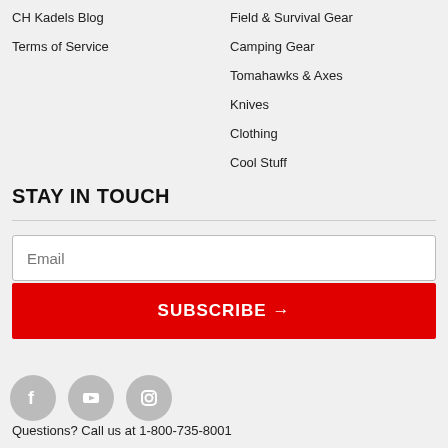CH Kadels Blog
Terms of Service
Field & Survival Gear
Camping Gear
Tomahawks & Axes
Knives
Clothing
Cool Stuff
STAY IN TOUCH
Email
SUBSCRIBE →
[Figure (other): Social media icons: Facebook, YouTube, Instagram]
Questions? Call us at 1-800-735-8001